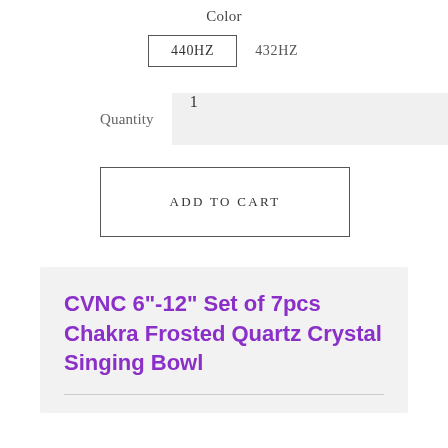Color
440HZ   432HZ
Quantity   1
ADD TO CART
CVNC 6"-12" Set of 7pcs Chakra Frosted Quartz Crystal Singing Bowl